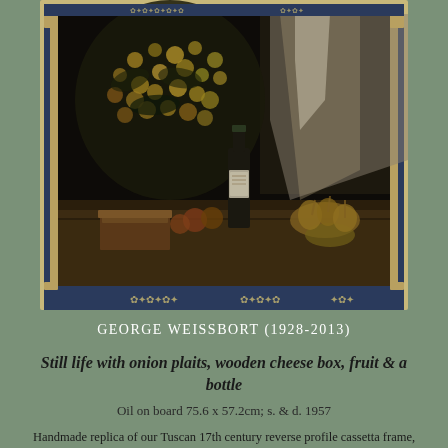[Figure (photo): A framed oil painting showing a still life with onion plaits, wooden cheese box, fruit and a bottle. The painting has a dark background with a decorative blue and gold ornate frame featuring arabesque corners and centres.]
GEORGE WEISSBORT (1928-2013)
Still life with onion plaits, wooden cheese box, fruit & a bottle
Oil on board 75.6 x 57.2cm; s. & d. 1957
Handmade replica of our Tuscan 17th century reverse profile cassetta frame, painted and gilded with arabesque corners and centres